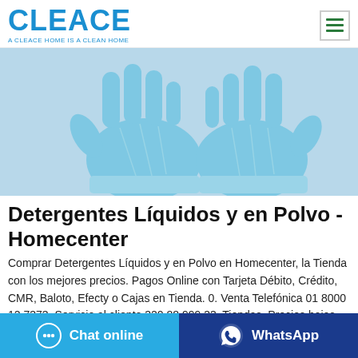[Figure (logo): CLEACE logo in blue with tagline 'A CLEACE HOME IS A CLEAN HOME']
[Figure (photo): Two blue disposable nitrile/latex gloves on a gray background]
Detergentes Líquidos y en Polvo - Homecenter
Comprar Detergentes Líquidos y en Polvo en Homecenter, la Tienda con los mejores precios. Pagos Online con Tarjeta Débito, Crédito, CMR, Baloto, Efecty o Cajas en Tienda. 0. Venta Telefónica 01 8000 12 7373. Servicio al cliente 320 88 999 33. Tiendas. Precios bajos
[Figure (screenshot): Chat online button (light blue)]
[Figure (screenshot): WhatsApp button (dark blue)]